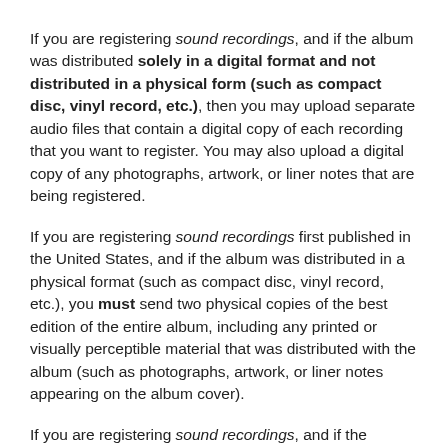If you are registering sound recordings, and if the album was distributed solely in a digital format and not distributed in a physical form (such as compact disc, vinyl record, etc.), then you may upload separate audio files that contain a digital copy of each recording that you want to register. You may also upload a digital copy of any photographs, artwork, or liner notes that are being registered.
If you are registering sound recordings first published in the United States, and if the album was distributed in a physical format (such as compact disc, vinyl record, etc.), you must send two physical copies of the best edition of the entire album, including any printed or visually perceptible material that was distributed with the album (such as photographs, artwork, or liner notes appearing on the album cover).
If you are registering sound recordings, and if the